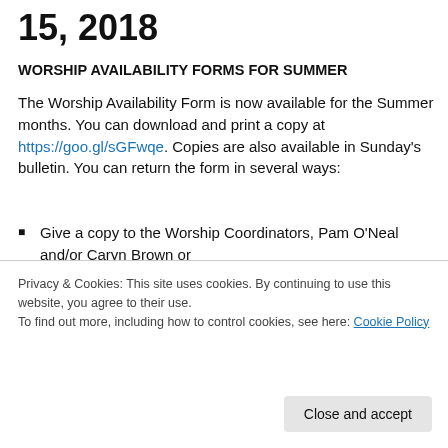15, 2018
WORSHIP AVAILABILITY FORMS FOR SUMMER
The Worship Availability Form is now available for the Summer months. You can download and print a copy at https://goo.gl/sGFwqe. Copies are also available in Sunday’s bulletin. You can return the form in several ways:
Give a copy to the Worship Coordinators, Pam O’Neal and/or Caryn Brown or
Place the form in the administrative “In” box located in
Privacy & Cookies: This site uses cookies. By continuing to use this website, you agree to their use.
To find out more, including how to control cookies, see here: Cookie Policy
Close and accept